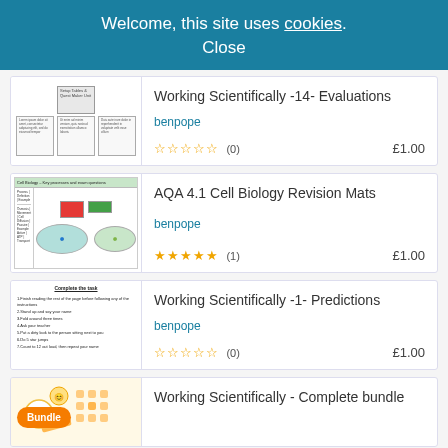Welcome, this site uses cookies. Close
[Figure (screenshot): Thumbnail of Working Scientifically -14- Evaluations worksheet with grey boxes and text sheets]
Working Scientifically -14- Evaluations
benpope
★★★★★ (0)   £1.00
[Figure (screenshot): Thumbnail of AQA 4.1 Cell Biology Revision Mats with table and cell diagrams]
AQA 4.1 Cell Biology Revision Mats
benpope
★★★★★ (1)   £1.00
[Figure (screenshot): Thumbnail of Working Scientifically -1- Predictions with task list text]
Working Scientifically -1- Predictions
benpope
★★★★★ (0)   £1.00
[Figure (screenshot): Thumbnail of Working Scientifically Complete bundle with orange Bundle badge]
Working Scientifically - Complete bundle